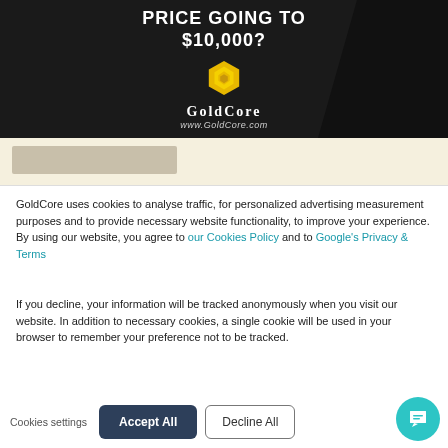[Figure (illustration): GoldCore advertisement banner on dark background. Text reads 'PRICE GOING TO $10,000?' with a yellow hexagonal logo and 'GoldCore' branding and url 'www.GoldCore.com'. Right side shows a dark blurred figure/object.]
[Figure (screenshot): Partial cream/beige colored section below the banner with a grayish image placeholder visible on the left side.]
GoldCore uses cookies to analyse traffic, for personalized advertising measurement purposes and to provide necessary website functionality, to improve your experience. By using our website, you agree to our Cookies Policy and to Google's Privacy & Terms
If you decline, your information will be tracked anonymously when you visit our website. In addition to necessary cookies, a single cookie will be used in your browser to remember your preference not to be tracked.
Cookies settings
Accept All
Decline All